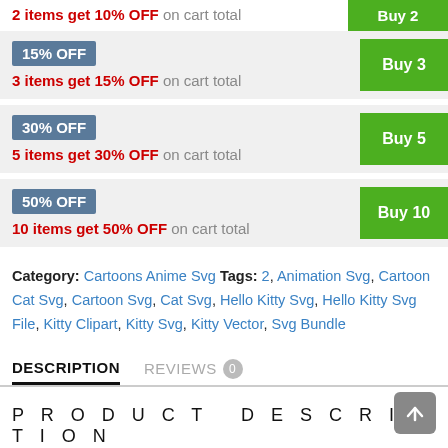2 items get 10% OFF on cart total
15% OFF | 3 items get 15% OFF on cart total | Buy 3
30% OFF | 5 items get 30% OFF on cart total | Buy 5
50% OFF | 10 items get 50% OFF on cart total | Buy 10
Category: Cartoons Anime Svg Tags: 2, Animation Svg, Cartoon Cat Svg, Cartoon Svg, Cat Svg, Hello Kitty Svg, Hello Kitty Svg File, Kitty Clipart, Kitty Svg, Kitty Vector, Svg Bundle
DESCRIPTION | REVIEWS 0
PRODUCT DESCRIPTION